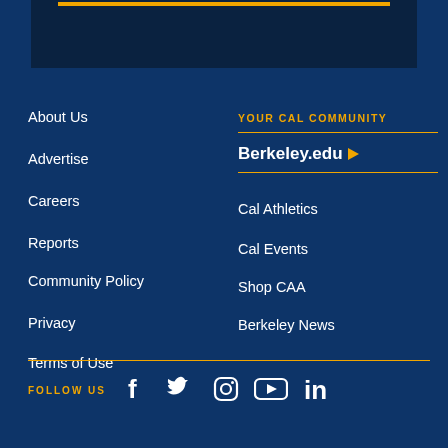About Us
Advertise
Careers
Reports
Community Policy
Privacy
Terms of Use
YOUR CAL COMMUNITY
Berkeley.edu ▶
Cal Athletics
Cal Events
Shop CAA
Berkeley News
FOLLOW US
[Figure (infographic): Social media icons: Facebook, Twitter, Instagram, YouTube, LinkedIn]